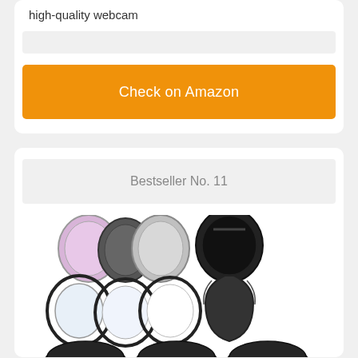high-quality webcam
[Figure (other): Gray bar placeholder]
[Figure (other): Orange Check on Amazon button]
Bestseller No. 11
[Figure (photo): Camera lens filters kit product photo showing multiple circular filters, lens caps, and a tulip lens hood arranged in rows]